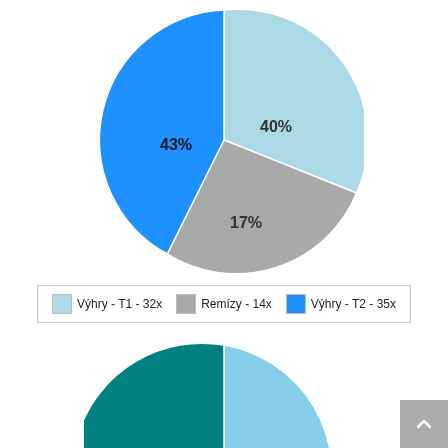[Figure (pie-chart): Pie chart 1]
Výhry - T1 - 32x   Remízy - 14x   Výhry - T2 - 35x
[Figure (pie-chart): Pie chart 2]